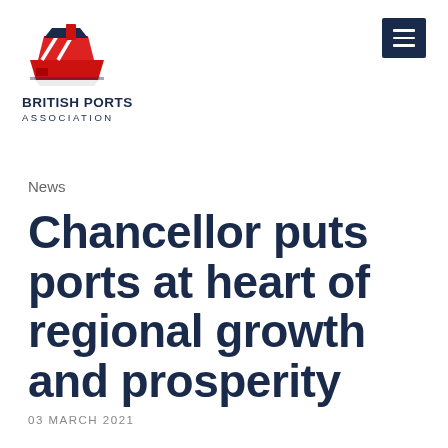[Figure (logo): British Ports Association logo with red ship graphic and bold navy text reading BRITISH PORTS ASSOCIATION]
News
Chancellor puts ports at heart of regional growth and prosperity
03 MARCH 2021